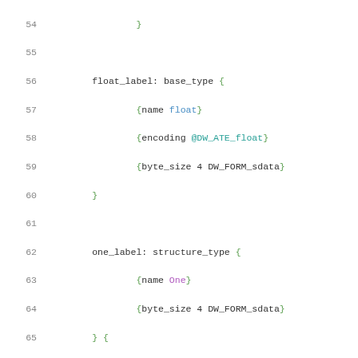Code listing lines 54-75 showing DWARF debug info structure definitions in a domain-specific language including float_label base_type, one_label structure_type, and two_label structure_type blocks.